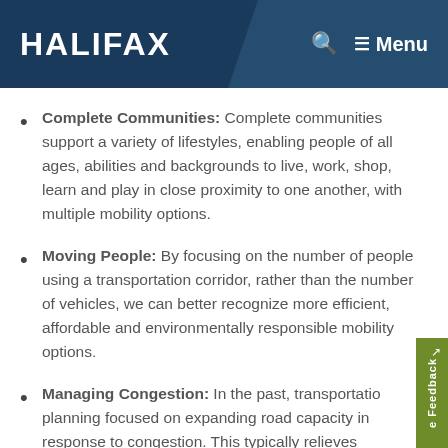HALIFAX   Menu
Complete Communities: Complete communities support a variety of lifestyles, enabling people of all ages, abilities and backgrounds to live, work, shop, learn and play in close proximity to one another, with multiple mobility options.
Moving People: By focusing on the number of people using a transportation corridor, rather than the number of vehicles, we can better recognize more efficient, affordable and environmentally responsible mobility options.
Managing Congestion: In the past, transportation planning focused on expanding road capacity in response to congestion. This typically relieves